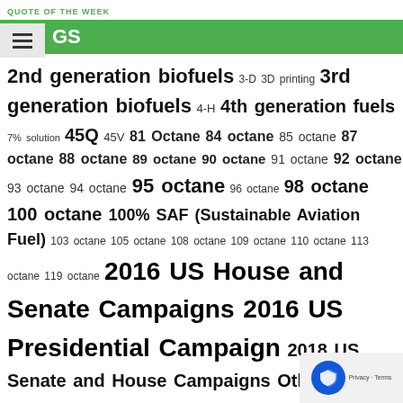QUOTE OF THE WEEK
GS
2nd generation biofuels 3-D 3D printing 3rd generation biofuels 4-H 4th generation fuels 7% solution 45Q 45V 81 Octane 84 octane 85 octane 87 octane 88 octane 89 octane 90 octane 91 octane 92 octane 93 octane 94 octane 95 octane 96 octane 98 octane 100 octane 100% SAF (Sustainable Aviation Fuel) 103 octane 105 octane 108 octane 109 octane 110 octane 113 octane 119 octane 2016 US House and Senate Campaigns 2016 US Presidential Campaign 2018 US Senate and House Campaigns Other Election Activities 2020 Election 2022 2022 Election 2022 US Senate and House Campaign 9003 Program a A20 (20% methanol/bioethanol) Abu Dhabi acacia acetate acetic acid acetone acid hydrolysis adaptive evolution additional carbon additionality adequate/inadequate domestic supply Administrative Procedure Act advanced advanced biofuel prices Advanced biofuels advanced biofuels production advanced ethanol advanced ethanol tax credit advertising campaign aerobic digestion aerosols Affordable Clean Energy Program afforestation Afghanistan Africa AGARDA (Agriculture Advanced Research and Development Authority) agave aggregation agr Agricultural Conservation Easement Program (ACEP) agricultural economics